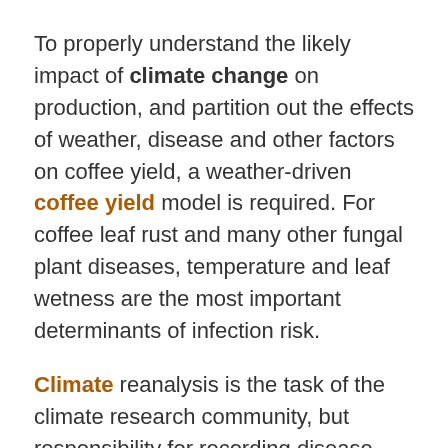To properly understand the likely impact of climate change on production, and partition out the effects of weather, disease and other factors on coffee yield, a weather-driven coffee yield model is required. For coffee leaf rust and many other fungal plant diseases, temperature and leaf wetness are the most important determinants of infection risk.
Climate reanalysis is the task of the climate research community, but responsibility for recording disease outbreaks, which are the observational data against which models can be tested, lies with the producers, researchers, agribusinesses and plant protection agencies that monitor agricultural systems. It is evident that despite the threat posed by pathogens, serious data gaps remain of where and when outbreaks occur, particularly in the developing world (Bebber DP, Holmes T, Smith D, Gurr SJ. 2014 Economic and physical